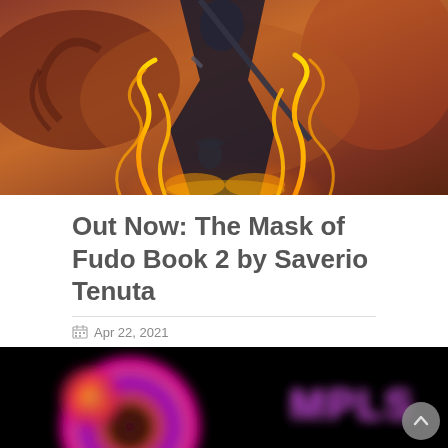[Figure (illustration): Fantasy illustration showing a figure in dark robes wielding a sword with glowing orange flame tendrils, set against a dramatic painterly background with warm red and orange tones.]
Out Now: The Mask of Fudo Book 2 by Saverio Tenuta
Apr 22, 2021
Swords and sorcery clash in feudal Japan.
LEARN MORE →
[Figure (photo): Dark background image showing colorful disc/record shapes on the left and 'MPLS' text logo in pink/purple on the right, partially cut off at the bottom of the page.]